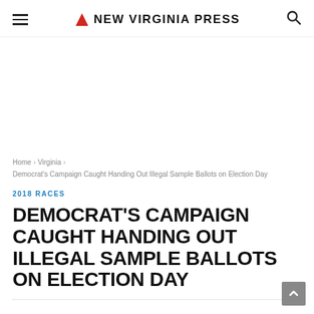NEW VIRGINIA PRESS
Home › Virginia › Democrat's Campaign Caught Handing Out Illegal Sample Ballots on Election Day
2018 RACES
DEMOCRAT'S CAMPAIGN CAUGHT HANDING OUT ILLEGAL SAMPLE BALLOTS ON ELECTION DAY